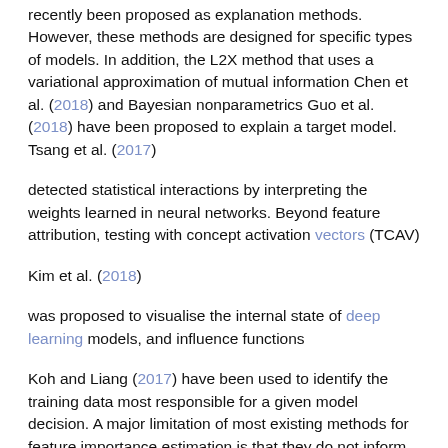recently been proposed as explanation methods. However, these methods are designed for specific types of models. In addition, the L2X method that uses a variational approximation of mutual information Chen et al. (2018) and Bayesian nonparametrics Guo et al. (2018) have been proposed to explain a target model. Tsang et al. (2017)
detected statistical interactions by interpreting the weights learned in neural networks. Beyond feature attribution, testing with concept activation vectors (TCAV)
Kim et al. (2018)
was proposed to visualise the internal state of deep learning models, and influence functions
Koh and Liang (2017) have been used to identify the training data most responsible for a given model decision. A major limitation of most existing methods for feature importance estimation is that they do not inform users when their estimates are significantly uncertain and can not be expected to be accurate.
Uncertainty and Reliability of Explanations